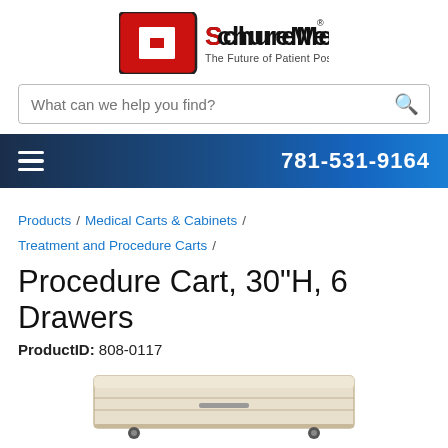[Figure (logo): SchureMed logo with red cross icon and tagline 'The Future of Patient Positioning']
What can we help you find?
781-531-9164
Products / Medical Carts & Cabinets / Treatment and Procedure Carts /
Procedure Cart, 30"H, 6 Drawers
ProductID: 808-0117
[Figure (photo): Partial image of a procedure cart, beige/cream colored, bottom portion visible]